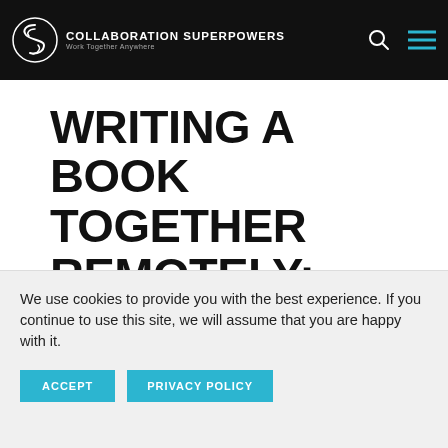COLLABORATION SUPERPOWERS — Work Together Anywhere
WRITING A BOOK TOGETHER REMOTELY: BEN LINDERS & LUIS
We use cookies to provide you with the best experience. If you continue to use this site, we will assume that you are happy with it.
ACCEPT   PRIVACY POLICY